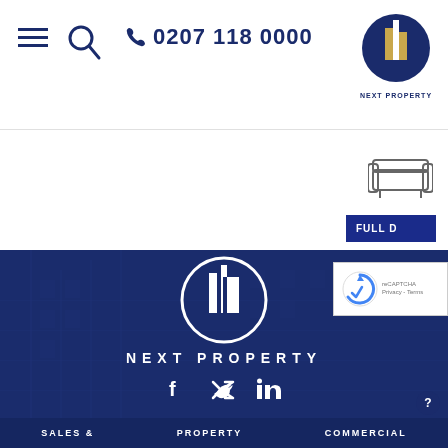[Figure (logo): Navigation header with hamburger menu, search icon, phone number 0207 118 0000, and Next Property logo top right]
0207 118 0000
[Figure (illustration): Sofa/seating icon]
[Figure (illustration): FULL D (full details) blue button partially visible]
[Figure (logo): Next Property logo in circular badge with building silhouette, white on dark blue background, in footer section]
NEXT PROPERTY
[Figure (illustration): Social media icons: Facebook, Twitter, LinkedIn]
[Figure (other): reCAPTCHA widget with Privacy and Terms links]
SALES &    PROPERTY    COMMERCIAL